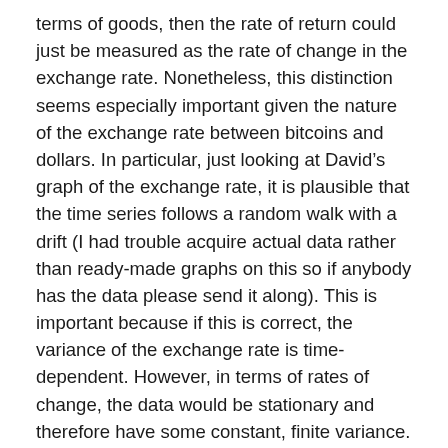terms of goods, then the rate of return could just be measured as the rate of change in the exchange rate. Nonetheless, this distinction seems especially important given the nature of the exchange rate between bitcoins and dollars. In particular, just looking at David's graph of the exchange rate, it is plausible that the time series follows a random walk with a drift (I had trouble acquire actual data rather than ready-made graphs on this so if anybody has the data please send it along). This is important because if this is correct, the variance of the exchange rate is time-dependent. However, in terms of rates of change, the data would be stationary and therefore have some constant, finite variance. Thus, in this hypothetical example, looking at the exchange rate using David's criteria about information sensitivity would indicate that bitcoin is a very bad money because the variance of